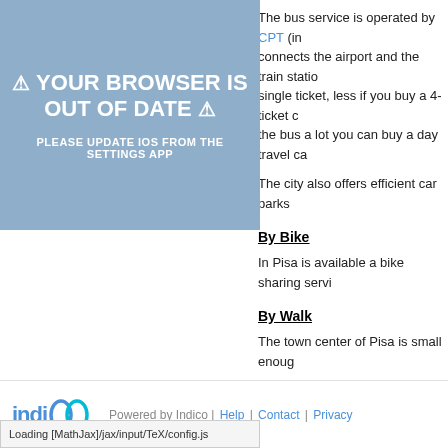[Figure (screenshot): Browser out-of-date warning banner with blue background, warning triangle icons, bold white text reading '⚠ YOUR BROWSER IS OUT OF DATE ⚠' and 'PLEASE UPDATE IOS FROM THE SETTINGS APP']
The bus service is operated by CPT (in... connects the airport and the train statio... single ticket, less if you buy a 4-ticket c... the bus a lot you can buy a day travel ca...
The city also offers efficient car parks
By Bike
In Pisa is available a bike sharing servi...
By Walk
The town center of Pisa is small enoug...
How to reach the Workshop ve...
You can find the Workshop venue on G... dei Cavalieri, 7.
[Figure (logo): Indico logo with teal/blue color and infinity-like icon]
Powered by Indico | Help | Contact | Privacy
Loading [MathJax]/jax/input/TeX/config.js